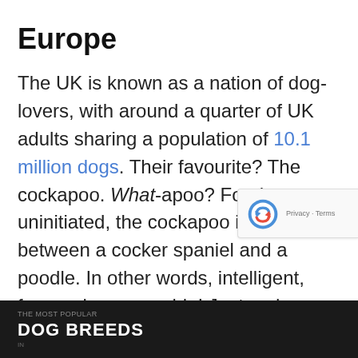Europe
The UK is known as a nation of dog-lovers, with around a quarter of UK adults sharing a population of 10.1 million dogs. Their favourite? The cockapoo. What-apoo? For the uninitiated, the cockapoo is a cross between a cocker spaniel and a poodle. In other words, intelligent, fun–and manageable! Just make sure you get your cross-breed from an ethical breeder.
THE MOST POPULAR DOG BREEDS